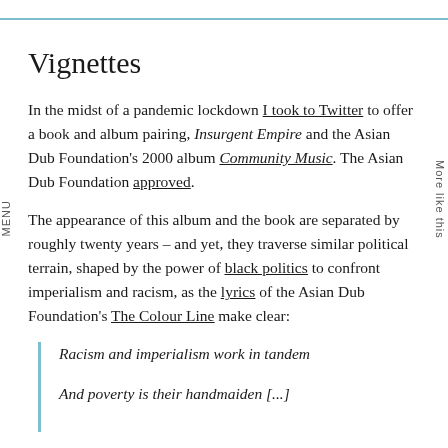Vignettes
In the midst of a pandemic lockdown I took to Twitter to offer a book and album pairing, Insurgent Empire and the Asian Dub Foundation's 2000 album Community Music. The Asian Dub Foundation approved.
The appearance of this album and the book are separated by roughly twenty years – and yet, they traverse similar political terrain, shaped by the power of black politics to confront imperialism and racism, as the lyrics of the Asian Dub Foundation's The Colour Line make clear:
Racism and imperialism work in tandem
And poverty is their handmaiden [...]